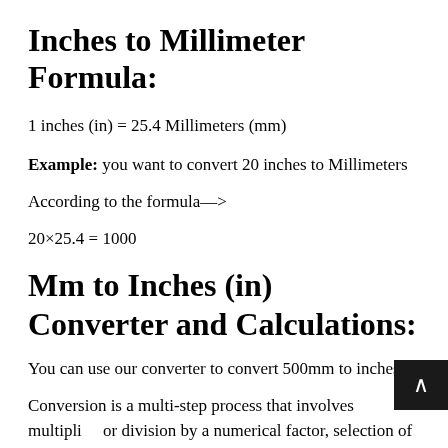Inches to Millimeter Formula:
Example: you want to convert 20 inches to Millimeters
According to the formula—>
Mm to Inches (in) Converter and Calculations:
You can use our converter to convert 500mm to inches
Conversion is a multi-step process that involves multiplying or division by a numerical factor, selection of the correct